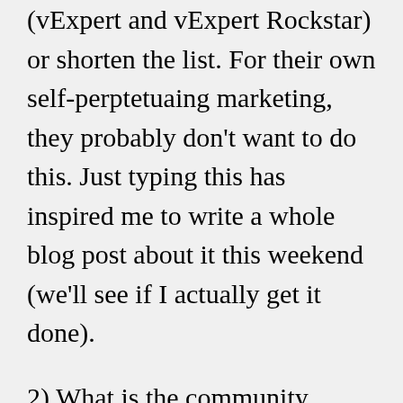(vExpert and vExpert Rockstar) or shorten the list. For their own self-perptetuaing marketing, they probably don't want to do this. Just typing this has inspired me to write a whole blog post about it this weekend (we'll see if I actually get it done).
2) What is the community missing? Business, business, business. Why does IT even exist? What is IT's function? Simple – to make money, by creating efficiencies, for the companies we serve. When I started blogging 2 years ago, my focus was going to be on how virtualization and